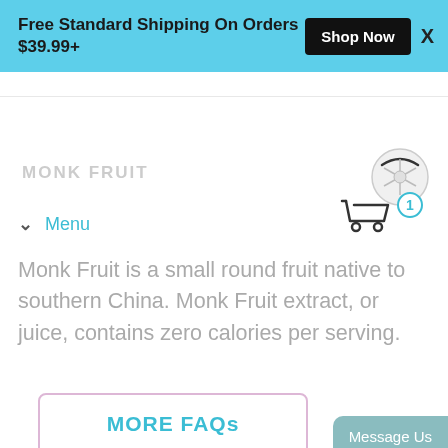Free Standard Shipping On Orders $39.99+  Shop Now  X
MONK FRUIT
Menu
Monk Fruit is a small round fruit native to southern China. Monk Fruit extract, or juice, contains zero calories per serving.
[Figure (illustration): Shopping cart icon with badge showing number 1, and a circular fruit logo above it]
MORE FAQs
Message Us